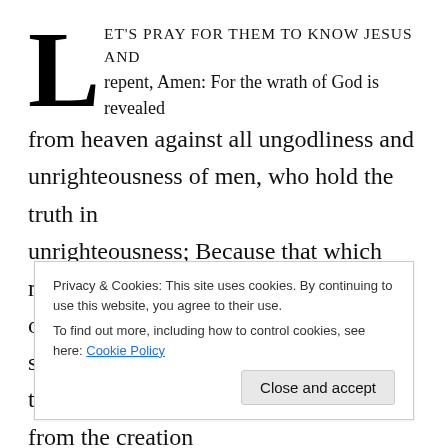Let's pray for them to know Jesus and repent, Amen: For the wrath of God is revealed from heaven against all ungodliness and unrighteousness of men, who hold the truth in unrighteousness; Because that which may be known of God is manifest in them; for God shewed it unto them. For the invisible things of him from the creation of the world are clearly seen, being understood by the
Privacy & Cookies: This site uses cookies. By continuing to use this website, you agree to their use. To find out more, including how to control cookies, see here: Cookie Policy
Close and accept